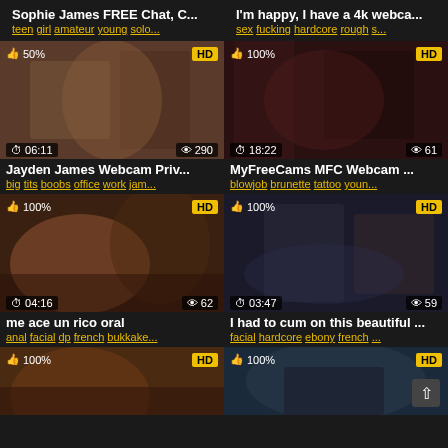Sophie James FREE Chat, C...
teen girl amateur young solo...
I'm happy, I have a 4k webca...
sex fucking hardcore rough s...
[Figure (photo): Video thumbnail, 50% rating, HD badge, duration 06:11, 290 views]
[Figure (photo): Video thumbnail, 100% rating, HD badge, duration 18:22, 61 views]
Jayden James Webcam Priv...
big tits boobs office work jam...
MyFreeCams MFC Webcam ...
blowjob brunette tattoo youn...
[Figure (photo): Video thumbnail, 100% rating, HD badge, duration 04:16, 62 views]
[Figure (photo): Video thumbnail, 100% rating, HD badge, duration 03:47, 59 views]
me ace un rico oral
anal facial dp french bukkake...
I had to cum on this beautiful ...
facial hardcore ebony french ...
[Figure (photo): Video thumbnail partial, 100% rating, HD badge]
[Figure (photo): Video thumbnail partial, 100% rating, HD badge, scroll-to-top button]